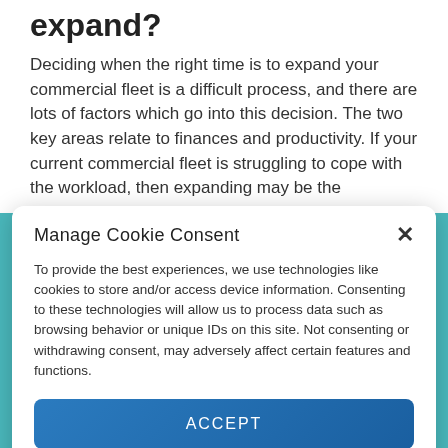expand?
Deciding when the right time is to expand your commercial fleet is a difficult process, and there are lots of factors which go into this decision. The two key areas relate to finances and productivity. If your current commercial fleet is struggling to cope with the workload, then expanding may be the
Manage Cookie Consent
To provide the best experiences, we use technologies like cookies to store and/or access device information. Consenting to these technologies will allow us to process data such as browsing behavior or unique IDs on this site. Not consenting or withdrawing consent, may adversely affect certain features and functions.
ACCEPT
Privacy Policy